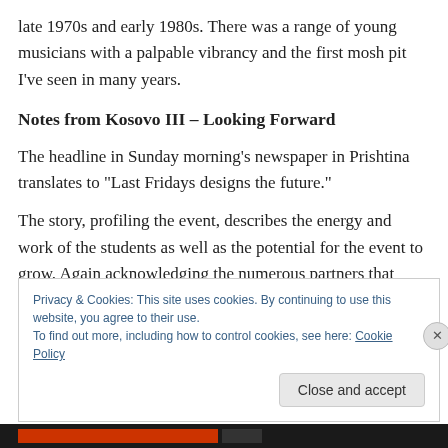late 1970s and early 1980s. There was a range of young musicians with a palpable vibrancy and the first mosh pit I've seen in many years.
Notes from Kosovo III – Looking Forward
The headline in Sunday morning's newspaper in Prishtina translates to “Last Fridays designs the future.”
The story, profiling the event, describes the energy and work of the students as well as the potential for the event to grow. Again acknowledging the numerous partners that
Privacy & Cookies: This site uses cookies. By continuing to use this website, you agree to their use.
To find out more, including how to control cookies, see here: Cookie Policy